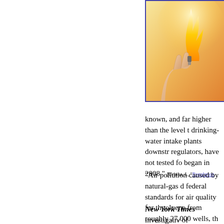[Figure (photo): A hand holding a lighter with a flame, glowing warmly against a light background]
known, and far higher than the level that drinking-water intake plants downstream, regulators, have not tested for began in 2008." [Urbina, I., "Regulation
"Air pollution caused by natural-gas d federal standards for air quality for the toluene from roughly 27,000 wells, the
New York Times investigativ of investigative stories about N March 4, 2011. The series, "Dr revealing a NG industry vehem